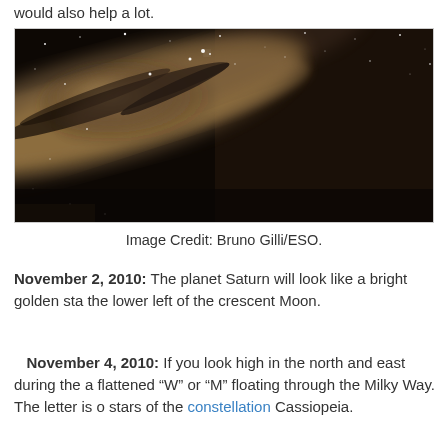would also help a lot.
[Figure (photo): Wide-angle photograph of the Milky Way galaxy arc stretching across a dark night sky, showing the bright galactic center and dark dust lanes against a starfield background.]
Image Credit: Bruno Gilli/ESO.
November 2, 2010: The planet Saturn will look like a bright golden star in the lower left of the crescent Moon.
November 4, 2010: If you look high in the north and east during the night, a flattened "W" or "M" floating through the Milky Way. The letter is of stars of the constellation Cassiopeia.